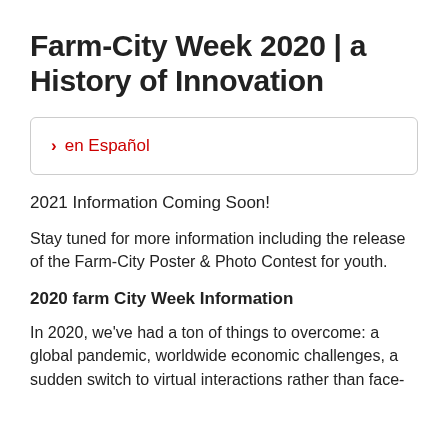Farm-City Week 2020 | a History of Innovation
› en Español
2021 Information Coming Soon!
Stay tuned for more information including the release of the Farm-City Poster & Photo Contest for youth.
2020 farm City Week Information
In 2020, we've had a ton of things to overcome: a global pandemic, worldwide economic challenges, a sudden switch to virtual interactions rather than face-